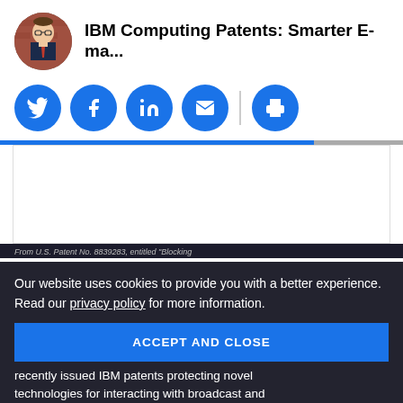IBM Computing Patents: Smarter E-ma...
[Figure (other): Social sharing icons row: Twitter, Facebook, LinkedIn, Email, Print — all blue circular buttons]
[Figure (other): White content box (embedded image/advertisement area, mostly blank)]
From U.S. Patent No. 8839283, entitled "Blocking ...
Our website uses cookies to provide you with a better experience. Read our privacy policy for more information.
ACCEPT AND CLOSE
recently issued IBM patents protecting novel
technologies for interacting with broadcast and